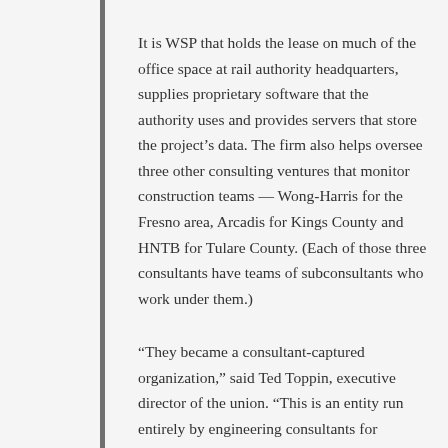It is WSP that holds the lease on much of the office space at rail authority headquarters, supplies proprietary software that the authority uses and provides servers that store the project’s data. The firm also helps oversee three other consulting ventures that monitor construction teams — Wong-Harris for the Fresno area, Arcadis for Kings County and HNTB for Tulare County. (Each of those three consultants have teams of subconsultants who work under them.)
“They became a consultant-captured organization,” said Ted Toppin, executive director of the union. “This is an entity run entirely by engineering consultants for engineering consultants.” Toppin provided state budget